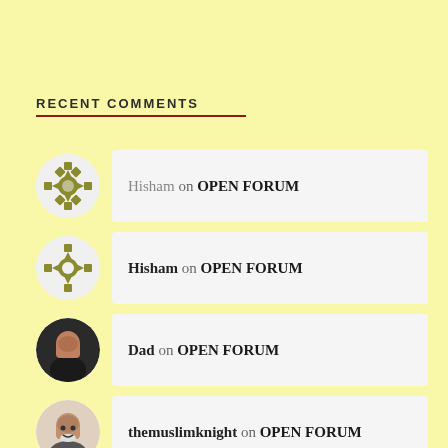RECENT COMMENTS
Hisham on OPEN FORUM
Hisham on OPEN FORUM
Dad on OPEN FORUM
themuslimknight on OPEN FORUM
Hisham on OPEN FORUM